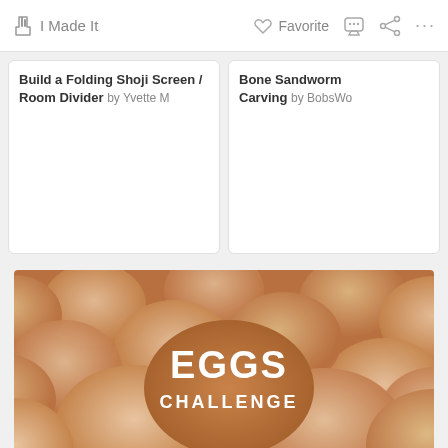I Made It   Favorite
Build a Folding Shoji Screen / Room Divider by Yvette M
Bone Sandworm Carving by BobsWo
[Figure (photo): Close-up photo of many brown eggs piled together with white bold text reading 'EGGS CHALLENGE' overlaid on one of the central eggs]